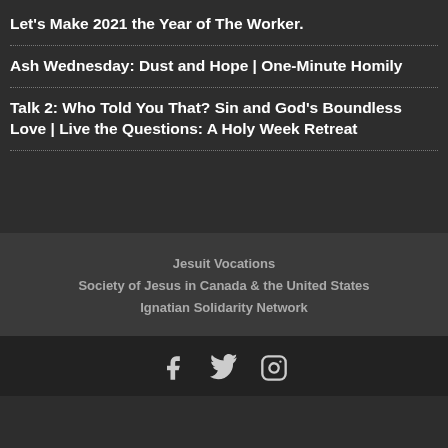Let's Make 2021 the Year of The Worker.
Ash Wednesday: Dust and Hope | One-Minute Homily
Talk 2: Who Told You That? Sin and God's Boundless Love | Live the Questions: A Holy Week Retreat
Jesuit Vocations
Society of Jesus in Canada & the United States
Ignatian Solidarity Network
[Figure (infographic): Social media icons: Facebook, Twitter, Instagram]